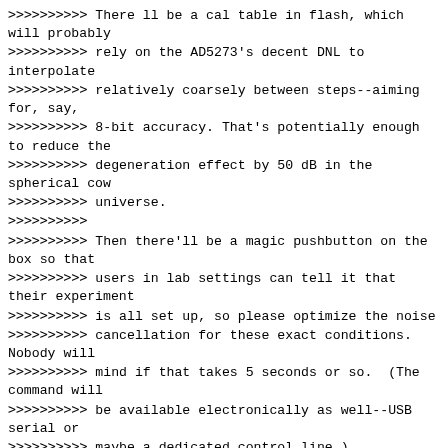>>>>>>>>>> There ll be a cal table in flash, which will probably
>>>>>>>>>> rely on the AD5273's decent DNL to interpolate
>>>>>>>>>> relatively coarsely between steps--aiming for, say,
>>>>>>>>>> 8-bit accuracy. That's potentially enough to reduce the
>>>>>>>>>> degeneration effect by 50 dB in the spherical cow
>>>>>>>>>> universe.
>>>>>>>>>>
>>>>>>>>>> Then there'll be a magic pushbutton on the box so that
>>>>>>>>>> users in lab settings can tell it that their experiment
>>>>>>>>>> is all set up, so please optimize the noise
>>>>>>>>>> cancellation for these exact conditions.&nbsp; Nobody will
>>>>>>>>>> mind if that takes 5 seconds or so.&nbsp; (The command will
>>>>>>>>>> be available electronically as well--USB serial or
>>>>>>>>>> maybe a dedicated control line.)
>>>>>>>>>>
>>>>>>>>>> The magic BFP640, with its ~1-kV Early voltage,
>>>>>>>>>> excellent saturation behaviour, and ultralow C_CB,
>>>>>>>>>> ...